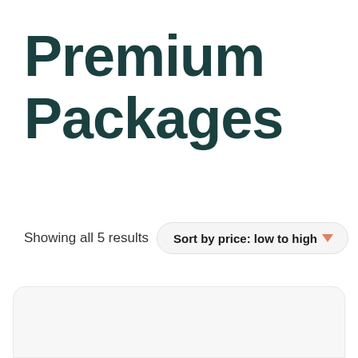Premium Packages
Showing all 5 results
Sort by price: low to high